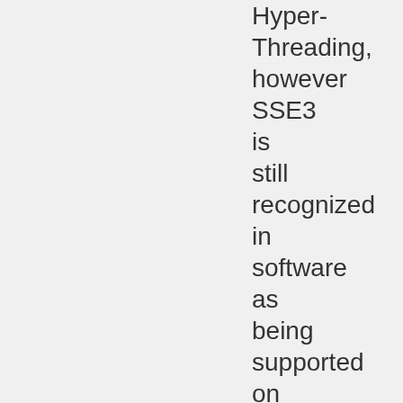Hyper-Threading, however SSE3 is still recognized in software as being supported on the platform.
64-